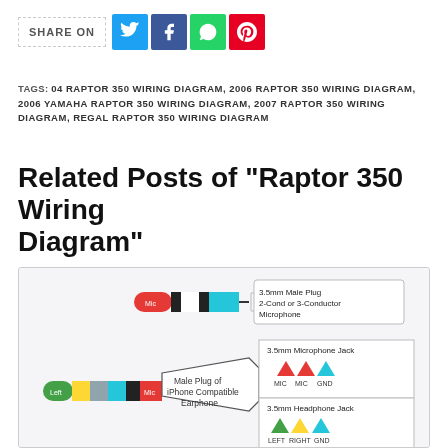SHARE ON
TAGS: 04 RAPTOR 350 WIRING DIAGRAM, 2006 RAPTOR 350 WIRING DIAGRAM, 2006 YAMAHA RAPTOR 350 WIRING DIAGRAM, 2007 RAPTOR 350 WIRING DIAGRAM, REGAL RAPTOR 350 WIRING DIAGRAM
Related Posts of "Raptor 350 Wiring Diagram"
[Figure (schematic): Wiring diagram showing a 3.5mm Male Plug (2-Cond or 3-Conductor Microphone) at top, and a Male Plug of iPhone Compatible Earphone at left connecting to a 3.5mm Microphone Jack (MIC, MIC, GND) and a 3.5mm Headphone Jack (LEFT, RIGHT, GND).]